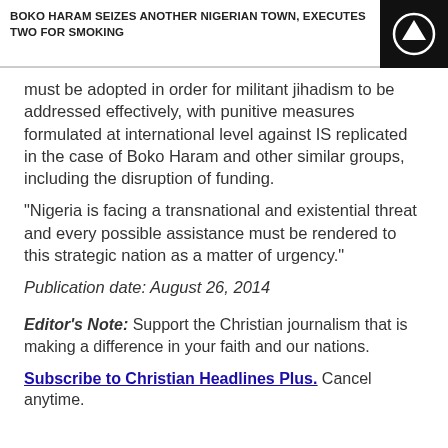BOKO HARAM SEIZES ANOTHER NIGERIAN TOWN, EXECUTES TWO FOR SMOKING
must be adopted in order for militant jihadism to be addressed effectively, with punitive measures formulated at international level against IS replicated in the case of Boko Haram and other similar groups, including the disruption of funding.
"Nigeria is facing a transnational and existential threat and every possible assistance must be rendered to this strategic nation as a matter of urgency."
Publication date: August 26, 2014
Editor's Note: Support the Christian journalism that is making a difference in your faith and our nations.
Subscribe to Christian Headlines Plus. Cancel anytime.